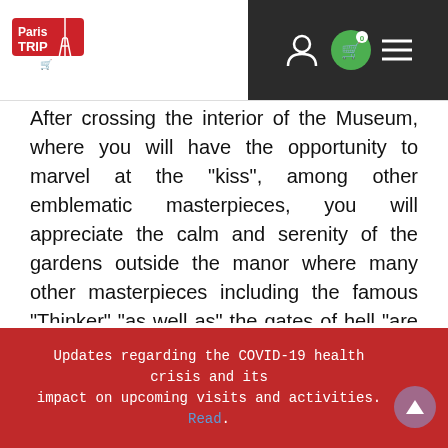Paris Trip logo and navigation icons
After crossing the interior of the Museum, where you will have the opportunity to marvel at the "kiss", among other emblematic masterpieces, you will appreciate the calm and serenity of the gardens outside the manor where many other masterpieces including the famous "Thinker" "as well as" the gates of hell "are on display.

At the end of your private tour, you will have the
Updates regarding the COVID-19 health crisis and its impact on upcoming visits and activities. Read.